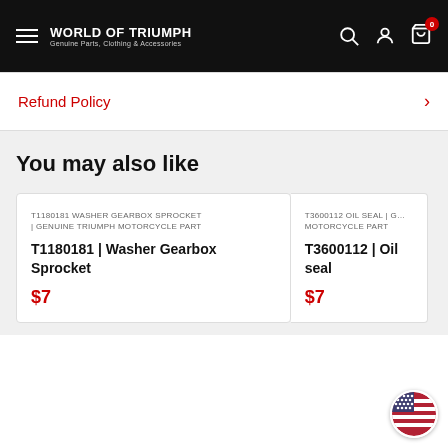WORLD OF TRIUMPH — Genuine Parts, Clothing & Accessories
Refund Policy
You may also like
T1180181 WASHER GEARBOX SPROCKET | GENUINE TRIUMPH MOTORCYCLE PART
T1180181 | Washer Gearbox Sprocket
$7
T3600112 OIL SEAL | G… MOTORCYCLE PART
T3600112 | Oil seal
$7